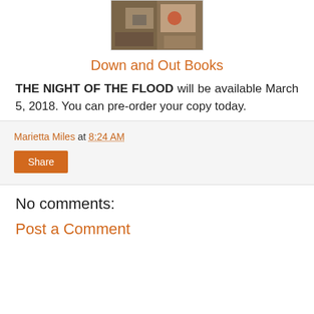[Figure (photo): Book cover image for The Night of the Flood]
Down and Out Books
THE NIGHT OF THE FLOOD will be available March 5, 2018. You can pre-order your copy today.
Marietta Miles at 8:24 AM
Share
No comments:
Post a Comment